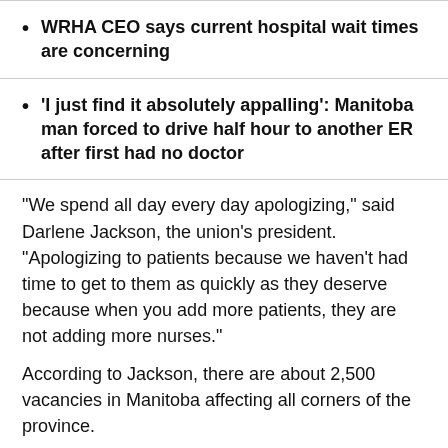WRHA CEO says current hospital wait times are concerning
'I just find it absolutely appalling': Manitoba man forced to drive half hour to another ER after first had no doctor
"We spend all day every day apologizing," said Darlene Jackson, the union's president. "Apologizing to patients because we haven't had time to get to them as quickly as they deserve because when you add more patients, they are not adding more nurses."
According to Jackson, there are about 2,500 vacancies in Manitoba affecting all corners of the province.
On Friday, River Falls Health Cour...